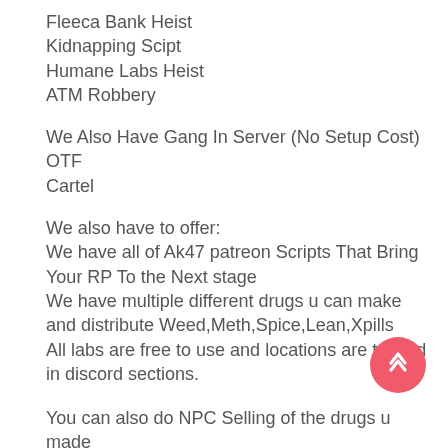Fleeca Bank Heist
Kidnapping Scipt
Humane Labs Heist
ATM Robbery
We Also Have Gang In Server (No Setup Cost)
OTF
Cartel
We also have to offer:
We have all of Ak47 patreon Scripts That Bring Your RP To the Next stage
We have multiple different drugs u can make and distribute Weed,Meth,Spice,Lean,Xpills
All labs are free to use and locations are teased in discord sections.
You can also do NPC Selling of the drugs u made
You can also be a Drug Dealer just dont get